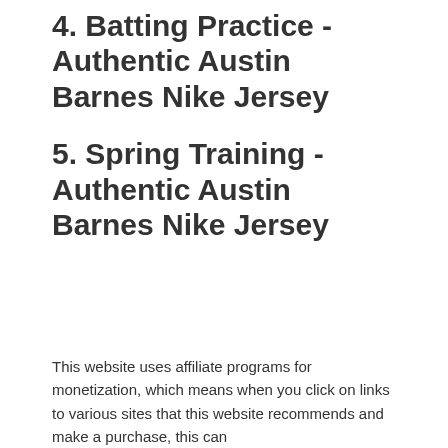4. Batting Practice - Authentic Austin Barnes Nike Jersey
5. Spring Training - Authentic Austin Barnes Nike Jersey
This website uses affiliate programs for monetization, which means when you click on links to various sites that this website recommends and make a purchase, this can result in a commission that is credited to this site.